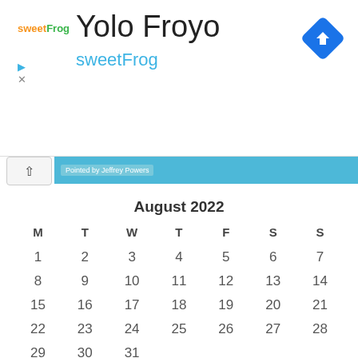[Figure (logo): sweetFrog logo with orange 'sweet' and green 'Frog' text]
Yolo Froyo
sweetFrog
[Figure (other): Navigation turn-by-turn blue diamond icon with right arrow]
[Figure (other): Chevron up button and blue horizontal bar with 'Pointed by Jeffrey Powers' text]
| M | T | W | T | F | S | S |
| --- | --- | --- | --- | --- | --- | --- |
| 1 | 2 | 3 | 4 | 5 | 6 | 7 |
| 8 | 9 | 10 | 11 | 12 | 13 | 14 |
| 15 | 16 | 17 | 18 | 19 | 20 | 21 |
| 22 | 23 | 24 | 25 | 26 | 27 | 28 |
| 29 | 30 | 31 |  |  |  |  |
« Jan